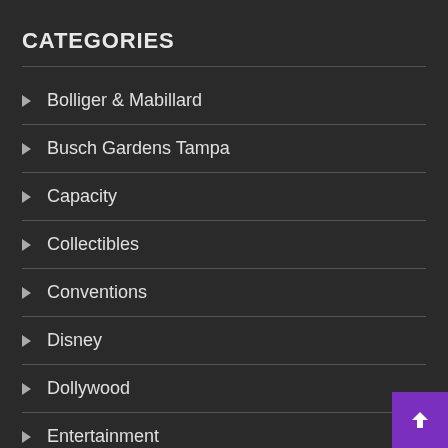CATEGORIES
Bolliger & Mabillard
Busch Gardens Tampa
Capacity
Collectibles
Conventions
Disney
Dollywood
Entertainment
Europa Park